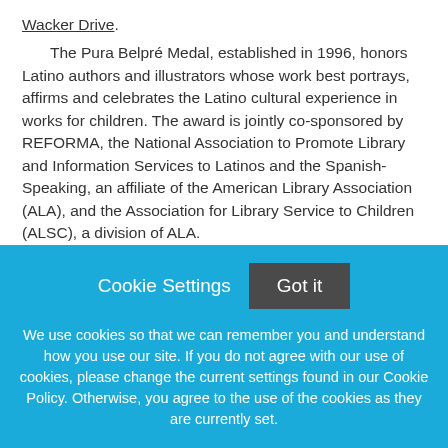Wacker Drive.
The Pura Belpré Medal, established in 1996, honors Latino authors and illustrators whose work best portrays, affirms and celebrates the Latino cultural experience in works for children. The award is jointly co-sponsored by REFORMA, the National Association to Promote Library and Information Services to Latinos and the Spanish-Speaking, an affiliate of the American Library Association (ALA), and the Association for Library Service to Children (ALSC), a division of ALA.
In Aristotle and Dante Discover the Secrets of the Universe,
[Figure (screenshot): Cookie consent overlay with blue background. Contains 'Cookie Settings' text button and 'Got it' dark button, followed by cookie usage notice text.]
We use cookies so that we can remember you and understand how you use our site. If you do not agree with our use of cookies, please change the current settings found in our Cookie Policy. Otherwise, you agree to the use of the cookies as they are currently set.